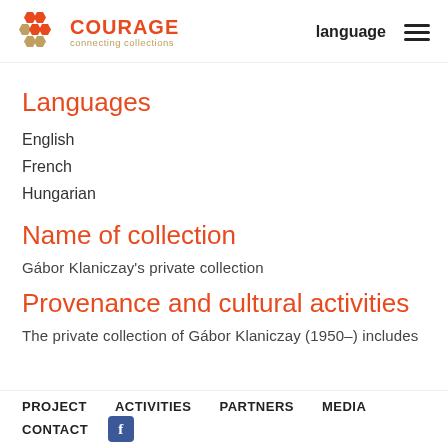COURAGE connecting collections | language
Languages
English
French
Hungarian
Name of collection
Gábor Klaniczay's private collection
Provenance and cultural activities
The private collection of Gábor Klaniczay (1950–) includes
PROJECT   ACTIVITIES   PARTNERS   MEDIA   CONTACT   [Facebook icon]